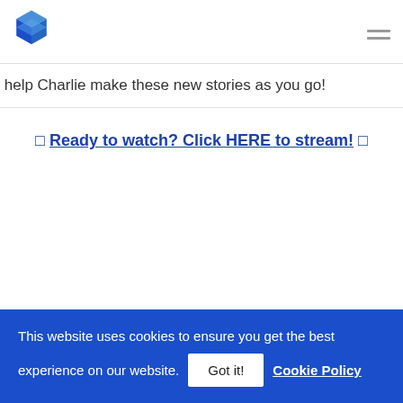[Logo] [Hamburger menu]
help Charlie make these new stories as you go!
🔲 Ready to watch? Click HERE to stream! 🔲
This website uses cookies to ensure you get the best experience on our website. Got it! Cookie Policy